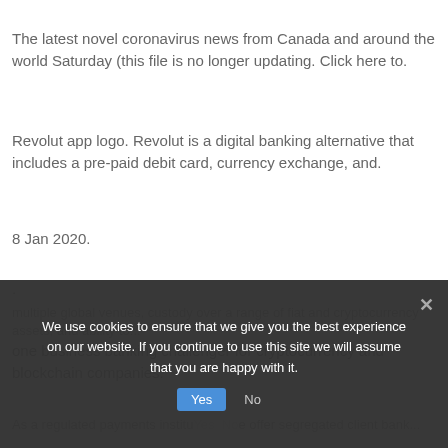The latest novel coronavirus news from Canada and around the world Saturday (this file is no longer updating. Click here to.
Revolut app logo. Revolut is a digital banking alternative that includes a pre-paid debit card, currency exchange, and.
8 Jan 2020.
.
one business banking challenger for cryptocurrency and blockchain companies.
multiple global venues, custody over a range of fiat and cryptocurrency assets, and ability to...
As a regulated payments institu... offer segregated client bank...
We use cookies to ensure that we give you the best experience on our website. If you continue to use this site we will assume that you are happy with it.